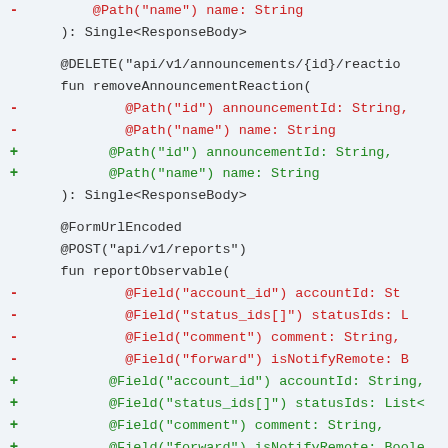[Figure (screenshot): A code diff screenshot showing Kotlin API interface code with red (removed) and green (added) lines. The code includes annotations like @DELETE, @Path, @FormUrlEncoded, @POST, @Field with function definitions removeAnnouncementReaction and reportObservable.]